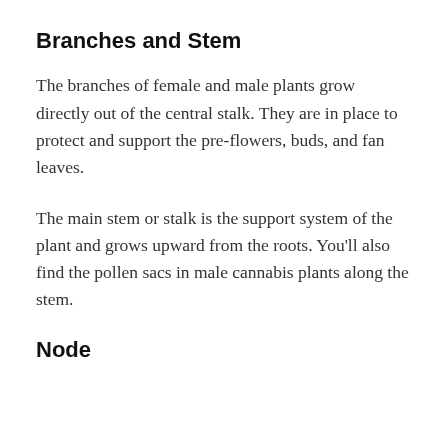Branches and Stem
The branches of female and male plants grow directly out of the central stalk. They are in place to protect and support the pre-flowers, buds, and fan leaves.
The main stem or stalk is the support system of the plant and grows upward from the roots. You’ll also find the pollen sacs in male cannabis plants along the stem.
Node